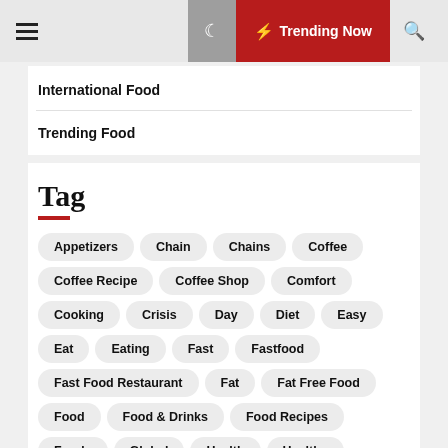☰  ☾  ⚡ Trending Now  🔍
International Food
Trending Food
Tag
Appetizers
Chain
Chains
Coffee
Coffee Recipe
Coffee Shop
Comfort
Cooking
Crisis
Day
Diet
Easy
Eat
Eating
Fast
Fastfood
Fast Food Restaurant
Fat
Fat Free Food
Food
Food & Drinks
Food Recipes
Foods
Global
Health
Healthy